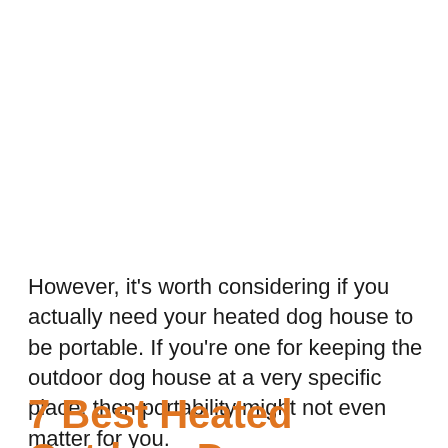However, it's worth considering if you actually need your heated dog house to be portable. If you're one for keeping the outdoor dog house at a very specific place, then portability might not even matter for you.
7 Best Heated Outdoor Dog...